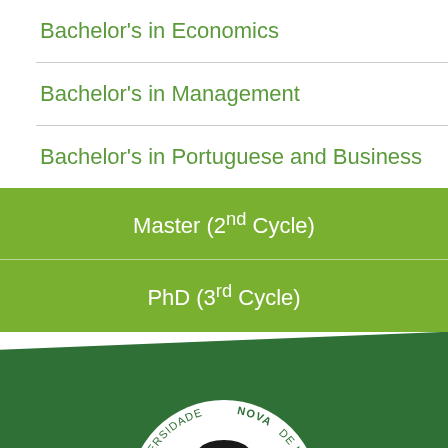Bachelor's in Economics
Bachelor's in Management
Bachelor's in Portuguese and Business
Master (2nd Cycle)
PhD (3rd Cycle)
[Figure (logo): Universidade NOVA de Lisboa circular logo with white background showing a stylized black shape, partial view at bottom of page]